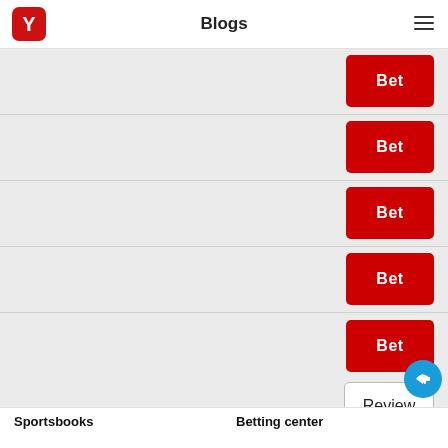Blogs
[Figure (screenshot): List of rows each with a red 'Bet' button on the right, on a light grey background]
Bet
Bet
Bet
Bet
Bet
Review
Sportsbooks
Betting center